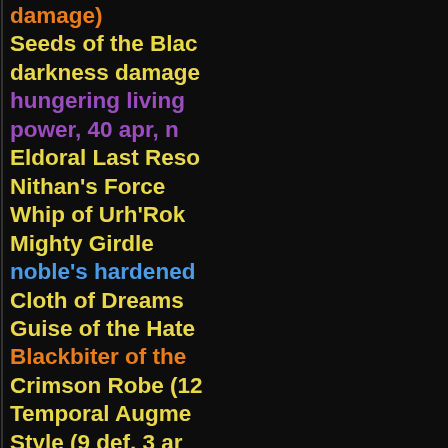damage)
Seeds of the Blac darkness damage
hungering living power, 40 apr, n
Eldoral Last Reso
Nithan's Force
Whip of Urh'Rok
Mighty Girdle
noble's hardened
Cloth of Dreams
Guise of the Hate
Blackbiter of the
Crimson Robe (12
Temporal Augme Style (9 def, 3 ar
Cinderfeet (3 def
pair of dwarven- def, 10 armour)
wanderer's pair o disengagement (